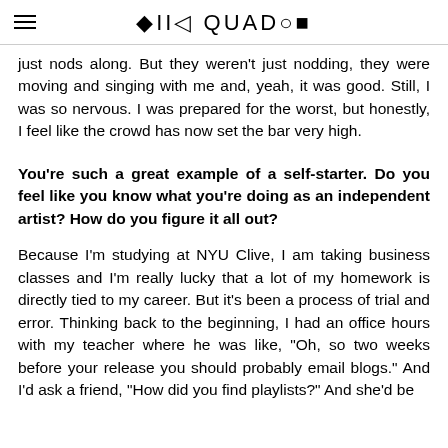CID QUADIO
just nods along. But they weren't just nodding, they were moving and singing with me and, yeah, it was good. Still, I was so nervous. I was prepared for the worst, but honestly, I feel like the crowd has now set the bar very high.
You're such a great example of a self-starter. Do you feel like you know what you're doing as an independent artist? How do you figure it all out?
Because I'm studying at NYU Clive, I am taking business classes and I'm really lucky that a lot of my homework is directly tied to my career. But it's been a process of trial and error. Thinking back to the beginning, I had an office hours with my teacher where he was like, "Oh, so two weeks before your release you should probably email blogs." And I'd ask a friend, "How did you find playlists?" And she'd be